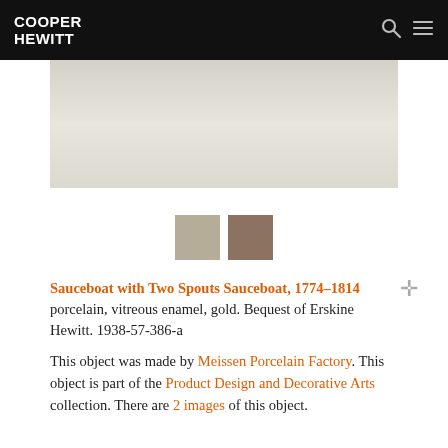COOPER HEWITT
[Figure (photo): Photograph of a sauceboat with two spouts, shown against a light beige/cream background]
[Figure (other): Two color swatches: light tan/beige and medium brown]
Sauceboat with Two Spouts Sauceboat, 1774-1814 porcelain, vitreous enamel, gold. Bequest of Erskine Hewitt. 1938-57-386-a
This object was made by Meissen Porcelain Factory. This object is part of the Product Design and Decorative Arts collection. There are 2 images of this object.